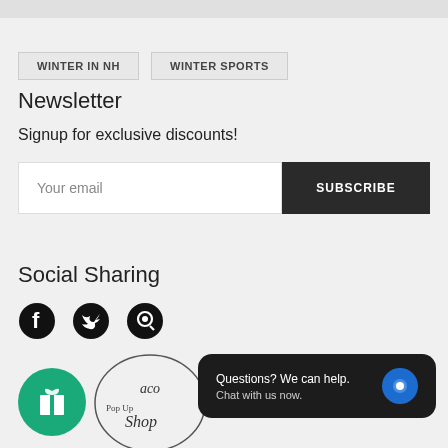WINTER IN NH
WINTER SPORTS
Newsletter
Signup for exclusive discounts!
Your email
SUBSCRIBE
Social Sharing
[Figure (illustration): Facebook, Twitter, and Pinterest social sharing icons]
[Figure (illustration): Gift/rewards circular green button icon]
[Figure (logo): Pop Up Shop logo with cursive text]
Questions? We can help. Chat with us now.